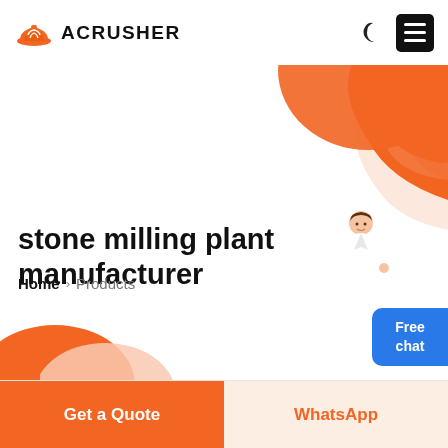[Figure (logo): Acrusher logo with orange hard-hat icon and bold ACRUSHER text]
[Figure (illustration): Decorative orange organic blob shape in top-right corner of the header/hero area, with a person in white coat standing in front]
stone milling plant manufacturer
Home > Products
[Figure (other): Blue 'Free chat' button on right side]
OUR PRODUCTS
Get a Quote
WhatsApp